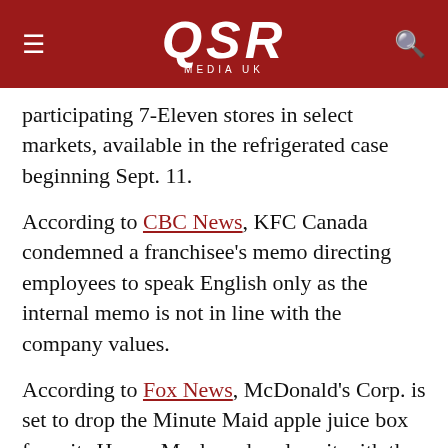QSR MEDIA UK
participating 7-Eleven stores in select markets, available in the refrigerated case beginning Sept. 11.
According to CBC News, KFC Canada condemned a franchisee's memo directing employees to speak English only as the internal memo is not in line with the company values.
According to Fox News, McDonald's Corp. is set to drop the Minute Maid apple juice box from its Happy Meals and replace it with the 6-ounce Honest Kids Appley Ever After box which contains 42% apple juice made by Honest Kids.
According to Thrillist, Taco Bell has launched a menu addition with black rice as the main